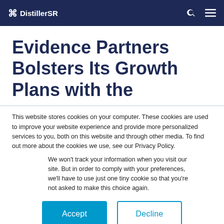⌘ DistillerSR
Evidence Partners Bolsters Its Growth Plans with the
This website stores cookies on your computer. These cookies are used to improve your website experience and provide more personalized services to you, both on this website and through other media. To find out more about the cookies we use, see our Privacy Policy.
We won't track your information when you visit our site. But in order to comply with your preferences, we'll have to use just one tiny cookie so that you're not asked to make this choice again.
Accept | Decline